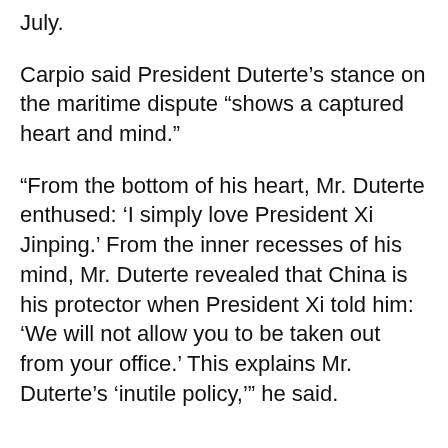July.
Carpio said President Duterte’s stance on the maritime dispute “shows a captured heart and mind.”
“From the bottom of his heart, Mr. Duterte enthused: ‘I simply love President Xi Jinping.’ From the inner recesses of his mind, Mr. Duterte revealed that China is his protector when President Xi told him: ‘We will not allow you to be taken out from your office.’ This explains Mr. Duterte’s ‘inutile policy,’” he said.